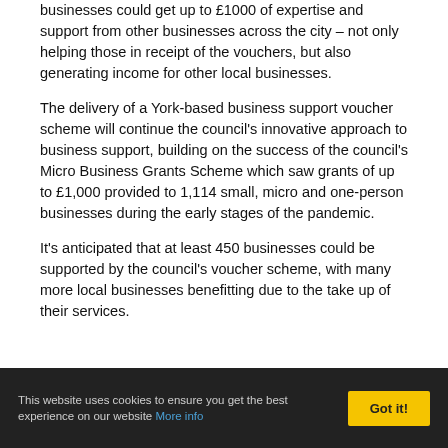businesses could get up to £1000 of expertise and support from other businesses across the city – not only helping those in receipt of the vouchers, but also generating income for other local businesses.
The delivery of a York-based business support voucher scheme will continue the council's innovative approach to business support, building on the success of the council's Micro Business Grants Scheme which saw grants of up to £1,000 provided to 1,114 small, micro and one-person businesses during the early stages of the pandemic.
It's anticipated that at least 450 businesses could be supported by the council's voucher scheme, with many more local businesses benefitting due to the take up of their services.
This website uses cookies to ensure you get the best experience on our website More info | Got it!